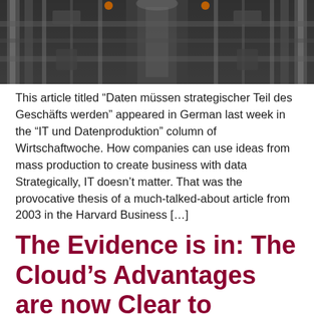[Figure (photo): Industrial or mechanical overhead abstract photo with dark metallic tones and orange accent elements]
This article titled “Daten müssen strategischer Teil des Geschäfts werden” appeared in German last week in the “IT und Datenproduktion” column of Wirtschaftwoche. How companies can use ideas from mass production to create business with data Strategically, IT doesn’t matter. That was the provocative thesis of a much-talked-about article from 2003 in the Harvard Business […]
The Evidence is in: The Cloud’s Advantages are now Clear to Business
The business community is now seeing directly how the cloud is transformative for business, not something simply for technologists to use One of the likely outcomes of